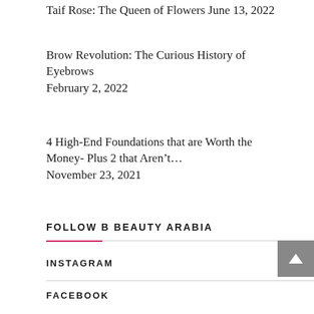Taif Rose: The Queen of Flowers June 13, 2022
Brow Revolution: The Curious History of Eyebrows
February 2, 2022
4 High-End Foundations that are Worth the Money- Plus 2 that Aren't…
November 23, 2021
FOLLOW B BEAUTY ARABIA
INSTAGRAM
FACEBOOK